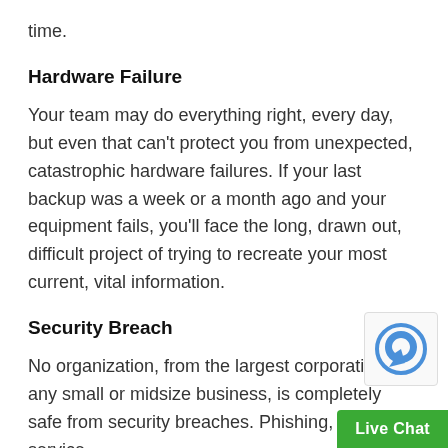time.
Hardware Failure
Your team may do everything right, every day, but even that can't protect you from unexpected, catastrophic hardware failures. If your last backup was a week or a month ago and your equipment fails, you'll face the long, drawn out, difficult project of trying to recreate your most current, vital information.
Security Breach
No organization, from the largest corporation to any small or midsize business, is completely safe from security breaches. Phishing, denial of service,